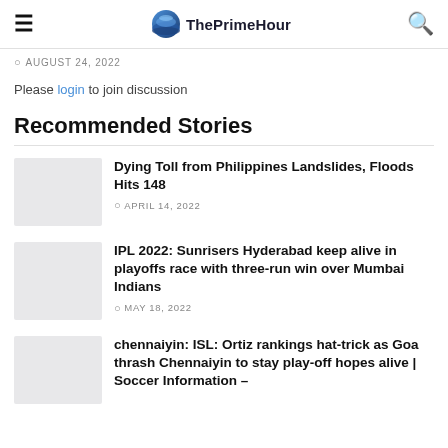ThePrimeHour
© AUGUST 24, 2022
Please login to join discussion
Recommended Stories
Dying Toll from Philippines Landslides, Floods Hits 148 — © APRIL 14, 2022
IPL 2022: Sunrisers Hyderabad keep alive in playoffs race with three-run win over Mumbai Indians — © MAY 18, 2022
chennaiyin: ISL: Ortiz rankings hat-trick as Goa thrash Chennaiyin to stay play-off hopes alive | Soccer Information –